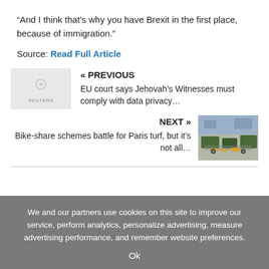“And I think that’s why you have Brexit in the first place, because of immigration.”
Source: Read Full Article
« PREVIOUS
EU court says Jehovah’s Witnesses must comply with data privacy…
NEXT »
Bike-share schemes battle for Paris turf, but it’s not all…
[Figure (photo): Thumbnail photo of bike-share schemes in Paris]
We and our partners use cookies on this site to improve our service, perform analytics, personalize advertising, measure advertising performance, and remember website preferences.
Ok